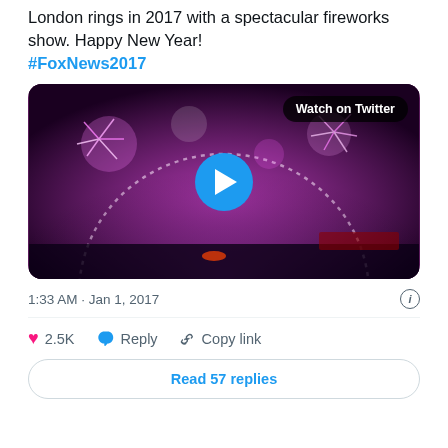London rings in 2017 with a spectacular fireworks show. Happy New Year! #FoxNews2017
[Figure (screenshot): Video thumbnail showing London Eye fireworks with pink/purple smoke on New Year 2017. White play button on blue circle in center. 'Watch on Twitter' label in top right.]
1:33 AM · Jan 1, 2017
2.5K  Reply  Copy link
Read 57 replies